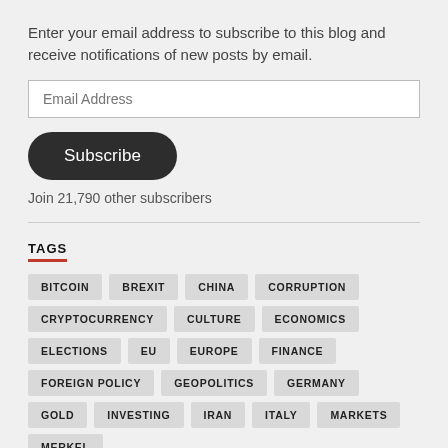Enter your email address to subscribe to this blog and receive notifications of new posts by email.
Email Address
Subscribe
Join 21,790 other subscribers
TAGS
BITCOIN
BREXIT
CHINA
CORRUPTION
CRYPTOCURRENCY
CULTURE
ECONOMICS
ELECTIONS
EU
EUROPE
FINANCE
FOREIGN POLICY
GEOPOLITICS
GERMANY
GOLD
INVESTING
IRAN
ITALY
MARKETS
MERKEL